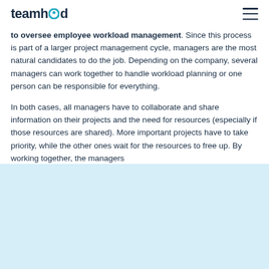teamhood
to oversee employee workload management. Since this process is part of a larger project management cycle, managers are the most natural candidates to do the job. Depending on the company, several managers can work together to handle workload planning or one person can be responsible for everything.
In both cases, all managers have to collaborate and share information on their projects and the need for resources (especially if those resources are shared). More important projects have to take priority, while the other ones wait for the resources to free up. By working together, the managers